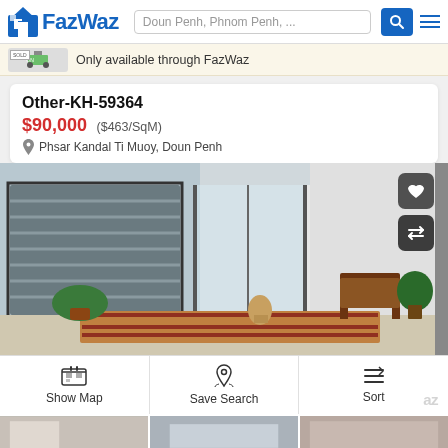FazWaz — Doun Penh, Phnom Penh, ...
Only available through FazWaz
Other-KH-59364
$90,000 ($463/SqM)
Phsar Kandal Ti Muoy, Doun Penh
[Figure (photo): Interior photo of a room with large louvered windows, potted plants, a guitar on the wall, a colorful rug, wooden chair, and a Buddha statue.]
Show Map   Save Search   Sort